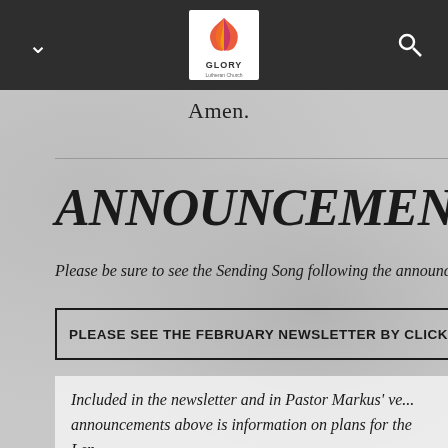[Figure (logo): Glory church logo with colorful flame/bird shape and 'GLORY' text, centered in dark navigation bar]
Amen.
ANNOUNCEMENTS
Please be sure to see the Sending Song following the announc...
PLEASE SEE THE FEBRUARY NEWSLETTER BY CLICKI...
Included in the newsletter and in Pastor Markus' ve... announcements above is information on plans for the Len...
Lenten services will be online before 7:00 p.m. on Wee... during Lent beginning on February 24 and will be ac...